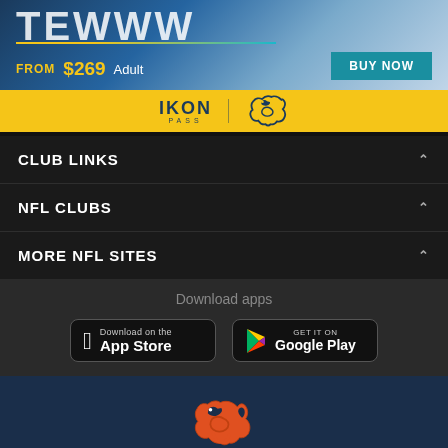[Figure (illustration): Advertisement banner showing 'TEWWW' text, 'FROM $269 Adult' with a blue BUY NOW button, on a gradient blue background]
[Figure (logo): IKON PASS logo with Denver Broncos horse logo on yellow background]
CLUB LINKS
NFL CLUBS
MORE NFL SITES
Download apps
[Figure (screenshot): Download on the App Store button (Apple)]
[Figure (screenshot): GET IT ON Google Play button]
[Figure (logo): Denver Broncos logo (orange horse head) on dark navy blue background]